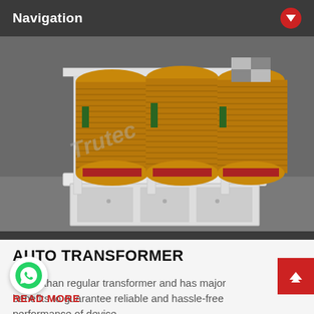Navigation
[Figure (photo): Three-phase auto transformer with copper wire windings on a white metal frame, photographed in a workshop. A watermark reading 'Trutec' is visible on the image.]
AUTO TRANSFORMER
Better than regular transformer and has major benefits to guarantee reliable and hassle-free performance of device.
READ MORE